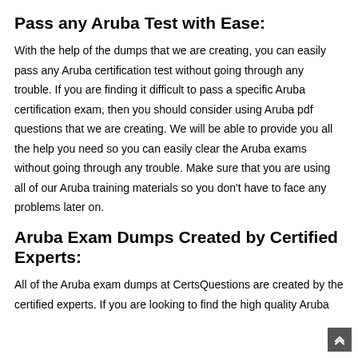Pass any Aruba Test with Ease:
With the help of the dumps that we are creating, you can easily pass any Aruba certification test without going through any trouble. If you are finding it difficult to pass a specific Aruba certification exam, then you should consider using Aruba pdf questions that we are creating. We will be able to provide you all the help you need so you can easily clear the Aruba exams without going through any trouble. Make sure that you are using all of our Aruba training materials so you don’t have to face any problems later on.
Aruba Exam Dumps Created by Certified Experts:
All of the Aruba exam dumps at CertsQuestions are created by the certified experts. If you are looking to find the high quality Aruba exam dumps questions for the preparation of a specific Aruba exam, then